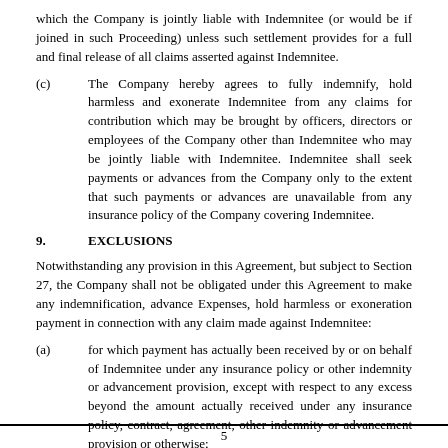which the Company is jointly liable with Indemnitee (or would be if joined in such Proceeding) unless such settlement provides for a full and final release of all claims asserted against Indemnitee.
(c)	The Company hereby agrees to fully indemnify, hold harmless and exonerate Indemnitee from any claims for contribution which may be brought by officers, directors or employees of the Company other than Indemnitee who may be jointly liable with Indemnitee. Indemnitee shall seek payments or advances from the Company only to the extent that such payments or advances are unavailable from any insurance policy of the Company covering Indemnitee.
9.	EXCLUSIONS
Notwithstanding any provision in this Agreement, but subject to Section 27, the Company shall not be obligated under this Agreement to make any indemnification, advance Expenses, hold harmless or exoneration payment in connection with any claim made against Indemnitee:
(a)	for which payment has actually been received by or on behalf of Indemnitee under any insurance policy or other indemnity or advancement provision, except with respect to any excess beyond the amount actually received under any insurance policy, contract, agreement, other indemnity or advancement provision or otherwise;
5